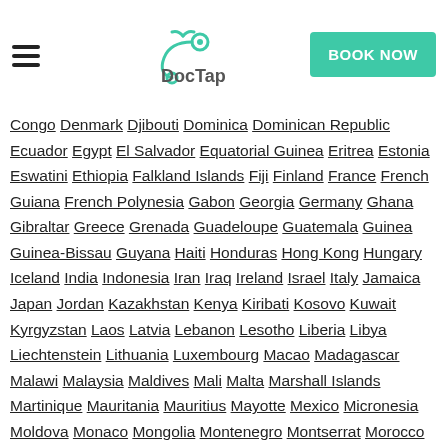DocTap — BOOK NOW
Congo Denmark Djibouti Dominica Dominican Republic Ecuador Egypt El Salvador Equatorial Guinea Eritrea Estonia Eswatini Ethiopia Falkland Islands Fiji Finland France French Guiana French Polynesia Gabon Georgia Germany Ghana Gibraltar Greece Grenada Guadeloupe Guatemala Guinea Guinea-Bissau Guyana Haiti Honduras Hong Kong Hungary Iceland India Indonesia Iran Iraq Ireland Israel Italy Jamaica Japan Jordan Kazakhstan Kenya Kiribati Kosovo Kuwait Kyrgyzstan Laos Latvia Lebanon Lesotho Liberia Libya Liechtenstein Lithuania Luxembourg Macao Madagascar Malawi Malaysia Maldives Mali Malta Marshall Islands Martinique Mauritania Mauritius Mayotte Mexico Micronesia Moldova Monaco Mongolia Montenegro Montserrat Morocco Mozambique Myanmar (Burma) Namibia Nauru Nepal Netherlands New Caledonia New Zealand Nicaragua Niger Nigeria North